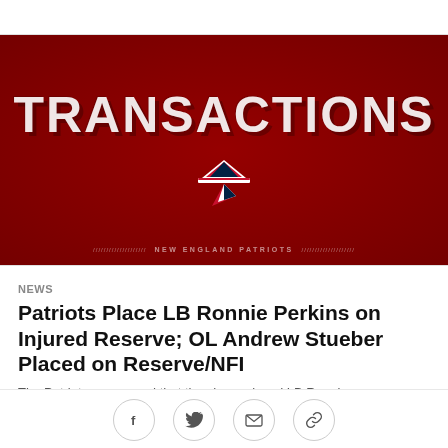[Figure (illustration): New England Patriots Transactions graphic — dark red background with large white bold text 'TRANSACTIONS' and Patriots logo (red, white, blue flying elvis hat) below, with 'NEW ENGLAND PATRIOTS' text at bottom center flanked by decorative lines]
NEWS
Patriots Place LB Ronnie Perkins on Injured Reserve; OL Andrew Stueber Placed on Reserve/NFI
The Patriots announced that they have placed LB Ronnie...